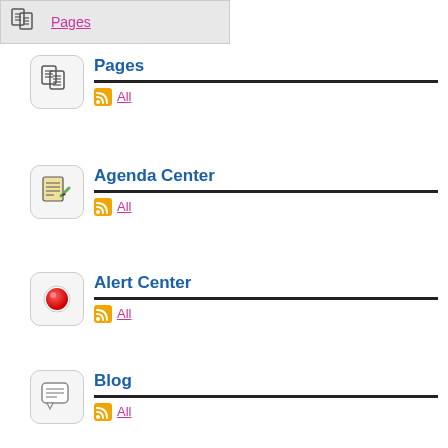[Figure (screenshot): Top navigation bar with page icon and 'Pages' link]
Pages
All
Agenda Center
All
Alert Center
All
Blog
All
Community Voice
All